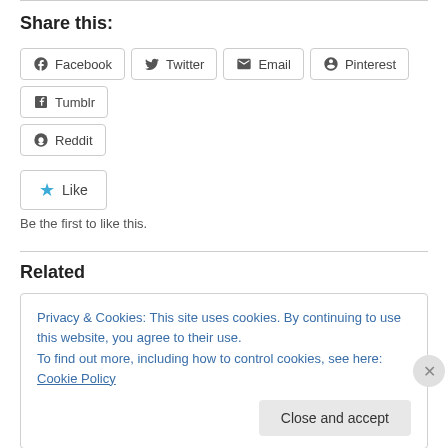Share this:
Facebook
Twitter
Email
Pinterest
Tumblr
Reddit
Like
Be the first to like this.
Related
Privacy & Cookies: This site uses cookies. By continuing to use this website, you agree to their use. To find out more, including how to control cookies, see here: Cookie Policy
Close and accept